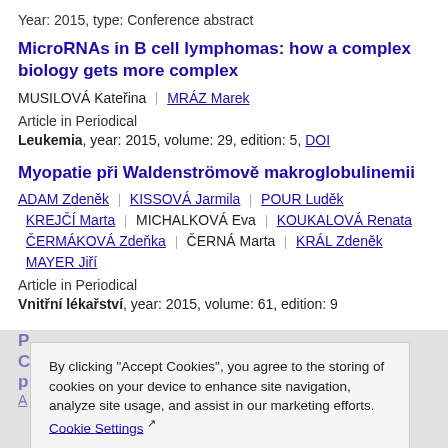Year: 2015, type: Conference abstract
MicroRNAs in B cell lymphomas: how a complex biology gets more complex
MUSILOVÁ Kateřina | MRÁZ Marek
Article in Periodical
Leukemia, year: 2015, volume: 29, edition: 5, DOI
Myopatie při Waldenströmově makroglobulinemii
ADAM Zdeněk | KISSOVÁ Jarmila | POUR Luděk | KREJČÍ Marta | MICHALKOVÁ Eva | KOUKALOVÁ Renata | ČERMÁKOVÁ Zdeňka | ČERNÁ Marta | KRÁL Zdeněk | MAYER Jiří
Article in Periodical
Vnitřní lékařství, year: 2015, volume: 61, edition: 9
By clicking "Accept Cookies", you agree to the storing of cookies on your device to enhance site navigation, analyze site usage, and assist in our marketing efforts. Cookie Settings